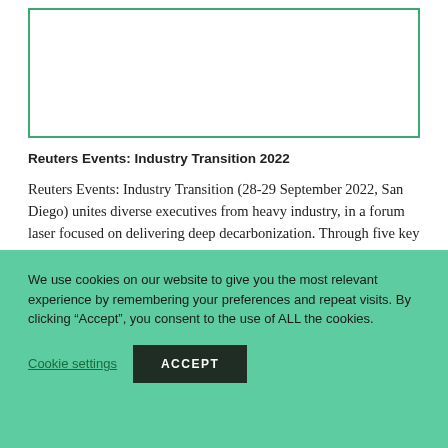[Figure (other): Empty bordered image placeholder box with green border]
Reuters Events: Industry Transition 2022
Reuters Events: Industry Transition (28-29 September 2022, San Diego) unites diverse executives from heavy industry, in a forum laser focused on delivering deep decarbonization. Through five key pillars we will explore the infrastructure and climate technology developments needed to deliver
We use cookies on our website to give you the most relevant experience by remembering your preferences and repeat visits. By clicking “Accept”, you consent to the use of ALL the cookies.
Cookie settings   ACCEPT